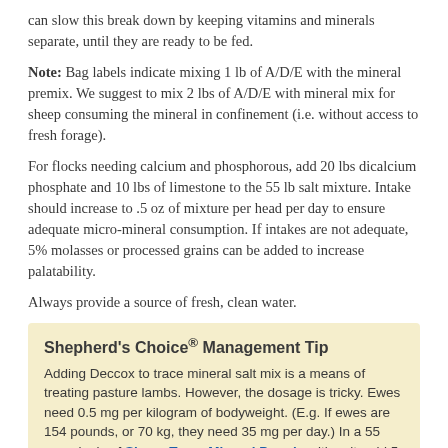can slow this break down by keeping vitamins and minerals separate, until they are ready to be fed.
Note: Bag labels indicate mixing 1 lb of A/D/E with the mineral premix. We suggest to mix 2 lbs of A/D/E with mineral mix for sheep consuming the mineral in confinement (i.e. without access to fresh forage).
For flocks needing calcium and phosphorous, add 20 lbs dicalcium phosphate and 10 lbs of limestone to the 55 lb salt mixture. Intake should increase to .5 oz of mixture per head per day to ensure adequate micro-mineral consumption. If intakes are not adequate, 5% molasses or processed grains can be added to increase palatability.
Always provide a source of fresh, clean water.
Shepherd's Choice® Management Tip
Adding Deccox to trace mineral salt mix is a means of treating pasture lambs. However, the dosage is tricky. Ewes need 0.5 mg per kilogram of bodyweight. (E.g. If ewes are 154 pounds, or 70 kg, they need 35 mg per day.) In a 55 pound mix of Sheep Trace Mineral Premix with salt, add 5 pounds of 6%